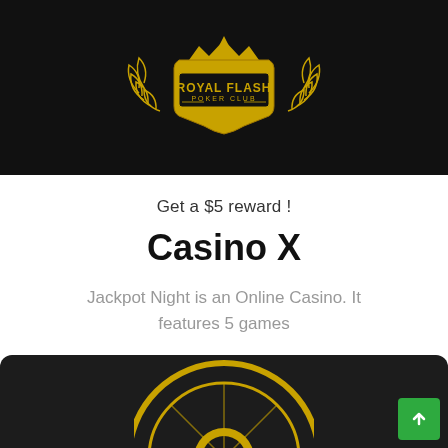[Figure (logo): Royal Flash Poker Club logo — gold emblem with laurel wreath and banner text on black background]
Get a $5 reward !
Casino X
Jackpot Night is an Online Casino. It features 5 games
[Figure (other): Green PLAY NOW button with arrow circle icon]
[Figure (other): Bottom black section with partial roulette wheel and green scroll-to-top button]